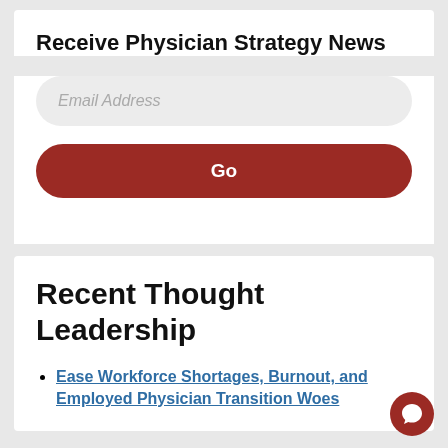Receive Physician Strategy News
Email Address
Go
Recent Thought Leadership
Ease Workforce Shortages, Burnout, and Employed Physician Transition Woes